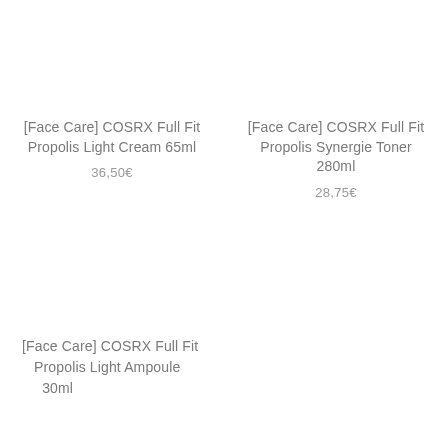[Face Care] COSRX Full Fit Propolis Light Cream 65ml
36,50€
[Face Care] COSRX Full Fit Propolis Synergie Toner 280ml
28,75€
[Face Care] COSRX Full Fit Propolis Light Ampoule